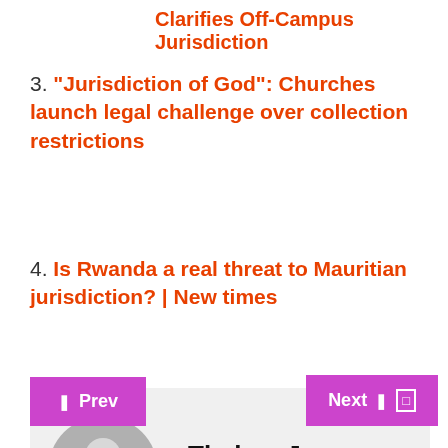Clarifies Off-Campus Jurisdiction
3. “Jurisdiction of God”: Churches launch legal challenge over collection restrictions
4. Is Rwanda a real threat to Mauritian jurisdiction? | New times
[Figure (illustration): Author profile box with a grey person silhouette avatar icon and the name Thelma J. Longworth in bold black text on a light grey background]
Prev
Next